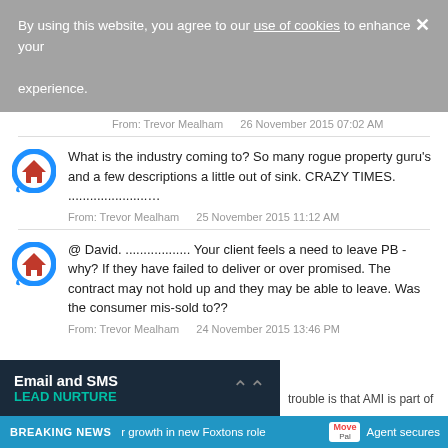By using this website, you agree to our use of cookies to enhance your experience.
From: Trevor Mealham   26 November 2015 07:02 AM
What is the industry coming to? So many rogue property guru's and a few descriptions a little out of sink. CRAZY TIMES. .....................
From: Trevor Mealham   25 November 2015 11:12 AM
@ David. .................. Your client feels a need to leave PB - why? If they have failed to deliver or over promised. The contract may not hold up and they may be able to leave. Was the consumer mis-sold to??
From: Trevor Mealham   24 November 2015 13:46 PM
Email and SMS LEAD NURTURE
trouble is that AMI is part of
BREAKING NEWS   r growth in new Foxtons role   Agent secures